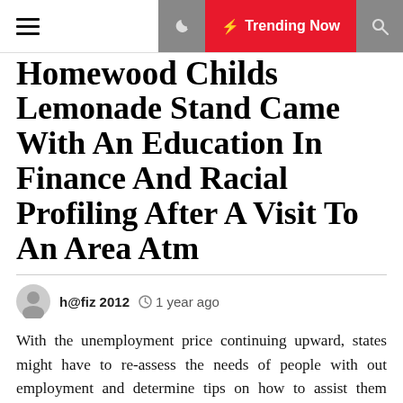Trending Now
Homewood Childs Lemonade Stand Came With An Education In Finance And Racial Profiling After A Visit To An Area Atm
h@fiz 2012   1 year ago
With the unemployment price continuing upward, states might have to re-assess the needs of people with out employment and determine tips on how to assist them reenter the workforce into good jobs as a part of financial restoration. Engage Parents across the nation are becoming a member of the fight — learn how you can help. When underperforming faculties and districts aren't